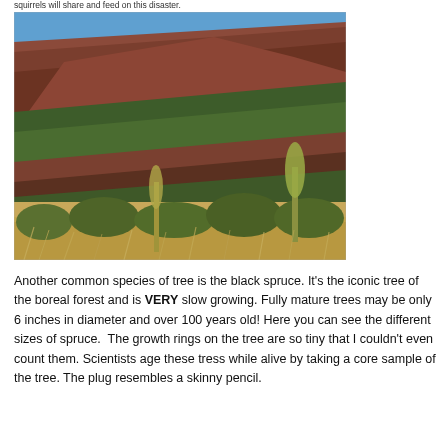squirrels will share and feed on this disaster.
[Figure (photo): Photograph of a mountainside covered with shrubs and sparse trees under a blue sky. The foreground shows dry grassy shrubs and a tall plant. The hillside has a mix of dark green low shrubs and reddish-brown rocky terrain.]
Another common species of tree is the black spruce. It's the iconic tree of the boreal forest and is VERY slow growing. Fully mature trees may be only 6 inches in diameter and over 100 years old! Here you can see the different sizes of spruce.  The growth rings on the tree are so tiny that I couldn't even count them. Scientists age these tress while alive by taking a core sample of the tree. The plug resembles a skinny pencil.